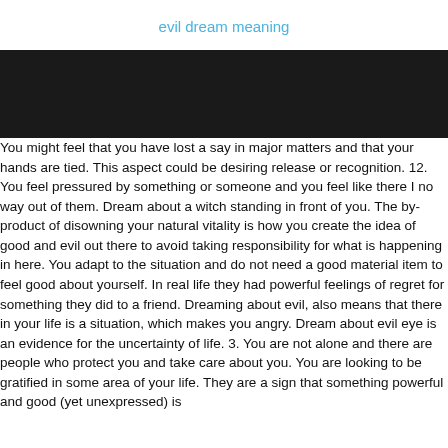evil dream meaning
[Figure (photo): Black banner/image block]
You might feel that you have lost a say in major matters and that your hands are tied. This aspect could be desiring release or recognition. 12. You feel pressured by something or someone and you feel like there I no way out of them. Dream about a witch standing in front of you. The by-product of disowning your natural vitality is how you create the idea of good and evil out there to avoid taking responsibility for what is happening in here. You adapt to the situation and do not need a good material item to feel good about yourself. In real life they had powerful feelings of regret for something they did to a friend. Dreaming about evil, also means that there in your life is a situation, which makes you angry. Dream about evil eye is an evidence for the uncertainty of life. 3. You are not alone and there are people who protect you and take care about you. You are looking to be gratified in some area of your life. They are a sign that something powerful and good (yet unexpressed) is